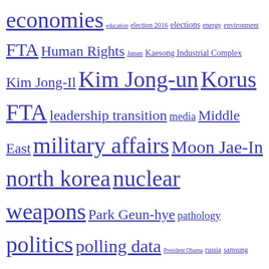economies education election 2016 elections energy environment FTA Human Rights Japan Kaesong Industrial Complex Kim Jong-Il Kim Jong-un Korus FTA leadership transition media Middle East military affairs Moon Jae-In north korea nuclear weapons Park Geun-hye pathology politics polling data President Obama russia samsung sanctions security Six Party Talks social issues soft power South Korea sports succession technology tourism trade US - ROK Relations WMD
Top Posts & Pages
Unexpected Challenge to Ending Worker Precarity
10 Issues to Watch for on the Korean Peninsula in 2020
Where do Biden and Trump Voters Stand on U.S.-Korea relations?
How Might Joe Biden as President Deal with Korea?
By Robert R. King In 2001, Senator Joe Biden became Chairman